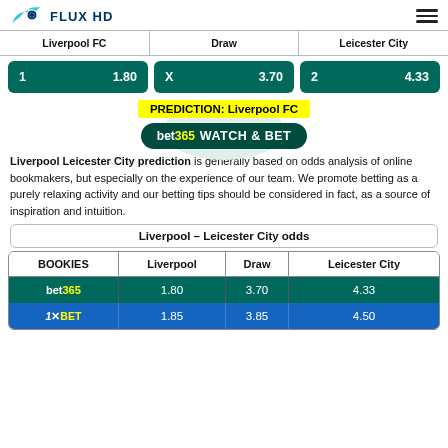FLUX HD
| Liverpool FC | Draw | Leicester City |
| --- | --- | --- |
| 1  1.80 | X  3.70 | 2  4.33 |
PREDICTION: Liverpool FC
bet365 WATCH & BET
Liverpool Leicester City prediction is generally based on odds analysis of online bookmakers, but especially on the experience of our team. We promote betting as a purely relaxing activity and our betting tips should be considered in fact, as a source of inspiration and intuition.
Liverpool – Leicester City odds
| BOOKIES | Liverpool | Draw | Leicester City |
| --- | --- | --- | --- |
| bet365 | 1.80 | 3.70 | 4.33 |
| 1XBET | 1.85 | 3.85 | 4.50 |